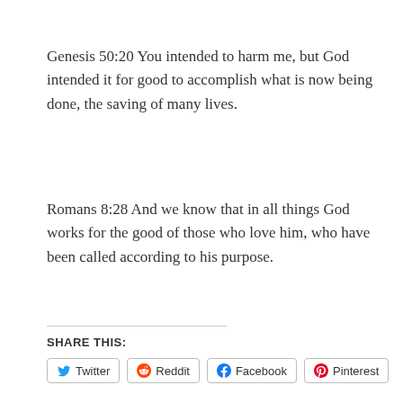Genesis 50:20 You intended to harm me, but God intended it for good to accomplish what is now being done, the saving of many lives.
Romans 8:28 And we know that in all things God works for the good of those who love him, who have been called according to his purpose.
SHARE THIS:
Twitter  Reddit  Facebook  Pinterest